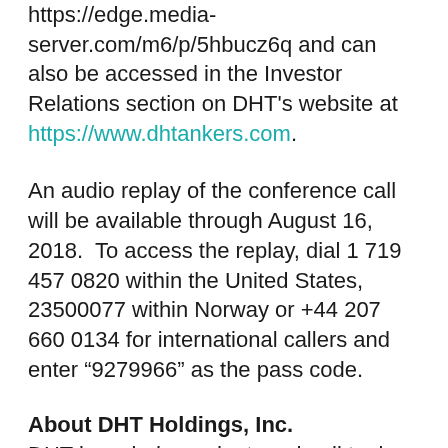https://edge.media-server.com/m6/p/5hbucz6q and can also be accessed in the Investor Relations section on DHT's website at https://www.dhtankers.com.
An audio replay of the conference call will be available through August 16, 2018.  To access the replay, dial 1 719 457 0820 within the United States, 23500077 within Norway or +44 207 660 0134 for international callers and enter “9279966” as the pass code.
About DHT Holdings, Inc.
DHT is an independent crude oil tanker company. Our fleet trades internationally and